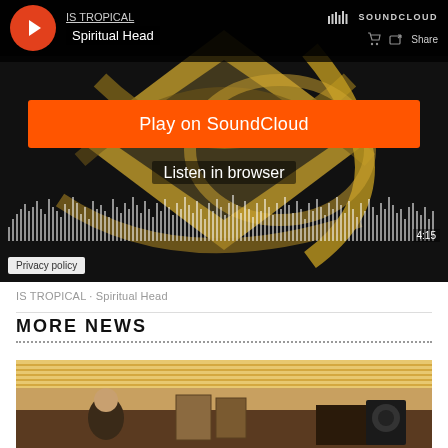[Figure (screenshot): SoundCloud embedded player showing IS TROPICAL - Spiritual Head. Black background with abstract gold/brown logo artwork. Orange play button circle top left. Artist name 'IS TROPICAL' underlined, track title 'Spiritual Head'. SoundCloud branding top right with bars logo. Orange 'Play on SoundCloud' button center. 'Listen in browser' text below. Audio waveform bars at bottom. Time '4:15' bottom right. 'Privacy policy' button bottom left.]
IS TROPICAL · Spiritual Head
MORE NEWS